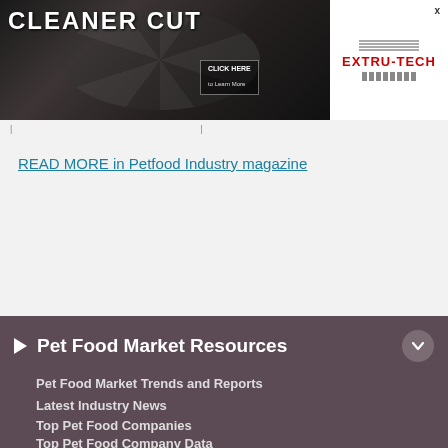[Figure (screenshot): Banner advertisement for Extru-Tech showing 'CLEANER CUT' text with a 'CLICK HERE to Learn More' button on a dark industrial background, with the Extru-Tech logo on white background to the right]
READ MORE in Petfood Industry magazine
Pet Food Market Resources
Pet Food Market Trends and Reports
Latest Industry News
Top Pet Food Companies
Top Pet Food Company Data